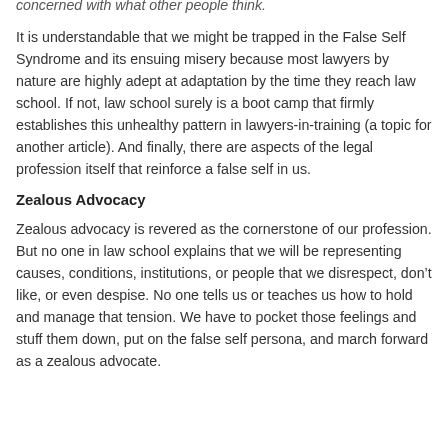concerned with what other people think.
It is understandable that we might be trapped in the False Self Syndrome and its ensuing misery because most lawyers by nature are highly adept at adaptation by the time they reach law school. If not, law school surely is a boot camp that firmly establishes this unhealthy pattern in lawyers-in-training (a topic for another article). And finally, there are aspects of the legal profession itself that reinforce a false self in us.
Zealous Advocacy
Zealous advocacy is revered as the cornerstone of our profession. But no one in law school explains that we will be representing causes, conditions, institutions, or people that we disrespect, don’t like, or even despise. No one tells us or teaches us how to hold and manage that tension. We have to pocket those feelings and stuff them down, put on the false self persona, and march forward as a zealous advocate.